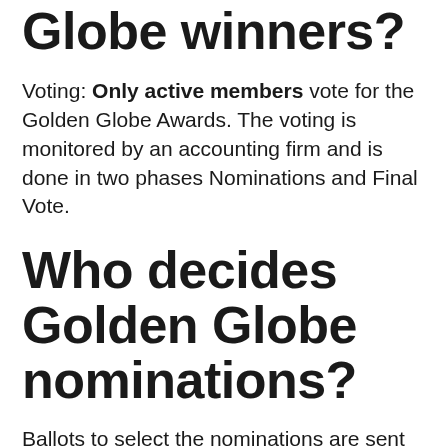Globe winners?
Voting: Only active members vote for the Golden Globe Awards. The voting is monitored by an accounting firm and is done in two phases Nominations and Final Vote.
Who decides Golden Globe nominations?
Ballots to select the nominations are sent to HFPA members in November, along with a “Reminder List” of eligible film and TV programs. Each HFPA member then votes for their top five choices in each category, numbering them 5 to 1, with 5 being their